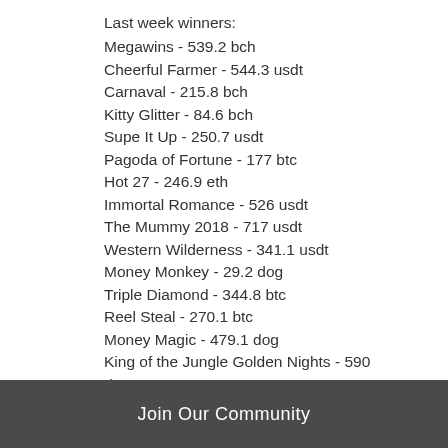Last week winners:
Megawins - 539.2 bch
Cheerful Farmer - 544.3 usdt
Carnaval - 215.8 bch
Kitty Glitter - 84.6 bch
Supe It Up - 250.7 usdt
Pagoda of Fortune - 177 btc
Hot 27 - 246.9 eth
Immortal Romance - 526 usdt
The Mummy 2018 - 717 usdt
Western Wilderness - 341.1 usdt
Money Monkey - 29.2 dog
Triple Diamond - 344.8 btc
Reel Steal - 270.1 btc
Money Magic - 479.1 dog
King of the Jungle Golden Nights - 590 dog
Videoslots, card and board games:
Join Our Community